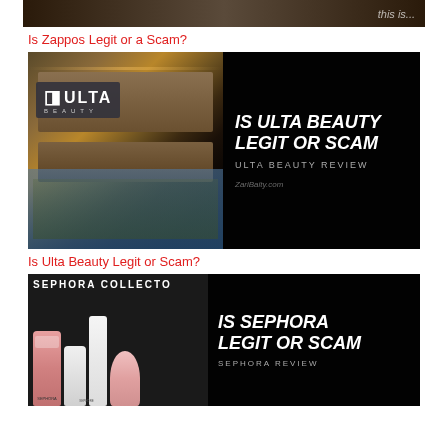[Figure (photo): Partial top strip of a Zappos review article thumbnail image — dark background with partial text overlay]
Is Zappos Legit or a Scam?
[Figure (photo): Ulta Beauty store front at night with IS ULTA BEAUTY LEGIT OR SCAM text overlay and ULTA BEAUTY REVIEW subtitle, watermark ZariBaity.com]
Is Ulta Beauty Legit or Scam?
[Figure (photo): Sephora Collection sign with beauty products in foreground and IS SEPHORA LEGIT OR SCAM text overlay with SEPHORA REVIEW subtitle]